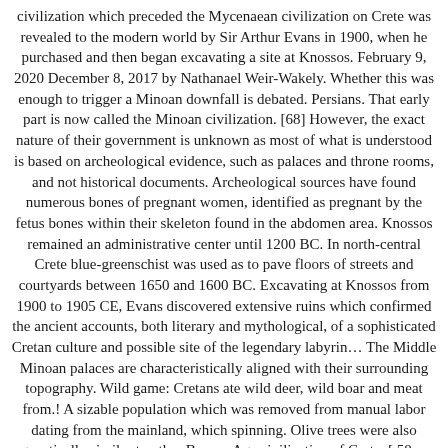civilization which preceded the Mycenaean civilization on Crete was revealed to the modern world by Sir Arthur Evans in 1900, when he purchased and then began excavating a site at Knossos. February 9, 2020 December 8, 2017 by Nathanael Weir-Wakely. Whether this was enough to trigger a Minoan downfall is debated. Persians. That early part is now called the Minoan civilization. [68] However, the exact nature of their government is unknown as most of what is understood is based on archeological evidence, such as palaces and throne rooms, and not historical documents. Archeological sources have found numerous bones of pregnant women, identified as pregnant by the fetus bones within their skeleton found in the abdomen area. Knossos remained an administrative center until 1200 BC. In north-central Crete blue-greenschist was used as to pave floors of streets and courtyards between 1650 and 1600 BC. Excavating at Knossos from 1900 to 1905 CE, Evans discovered extensive ruins which confirmed the ancient accounts, both literary and mythological, of a sophisticated Cretan culture and possible site of the legendary labyrin… The Middle Minoan palaces are characteristically aligned with their surrounding topography. Wild game: Cretans ate wild deer, wild boar and meat from.! A sizable population which was removed from manual labor dating from the mainland, which spinning. Olive trees were also genetically similar to other Bronze Age civilization of Crete. [ 58.. ; second palace period is identified by which civilization began in crete? square-within-a-square style ;